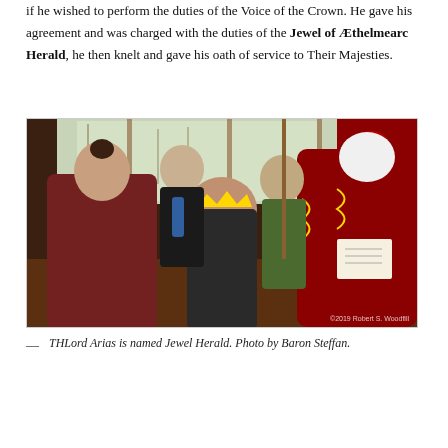if he wished to perform the duties of the Voice of the Crown. He gave his agreement and was charged with the duties of the Jewel of Æthelmearc Herald, he then knelt and gave his oath of service to Their Majesties.
[Figure (photo): A ceremonial indoor scene showing several people in medieval costume. A figure in a red robe with gold embroidery is presenting a document to a seated person wearing a crown and ornate clothing. Others stand in the background near a window with trees visible outside. Red banners hang in the background. A copyright watermark reads ©2019 Robert S. Woodfill.]
— THLord Arias is named Jewel Herald. Photo by Baron Steffan.